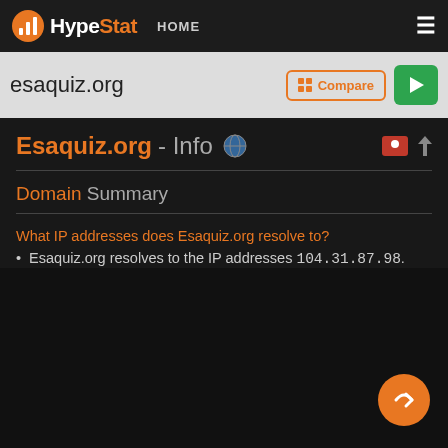HypeStat HOME
esaquiz.org Compare
Esaquiz.org - Info
Domain Summary
What IP addresses does Esaquiz.org resolve to?
Esaquiz.org resolves to the IP addresses 104.31.87.98.
Where are Esaquiz.org servers located in?
Esaquiz.org has servers located in United States.